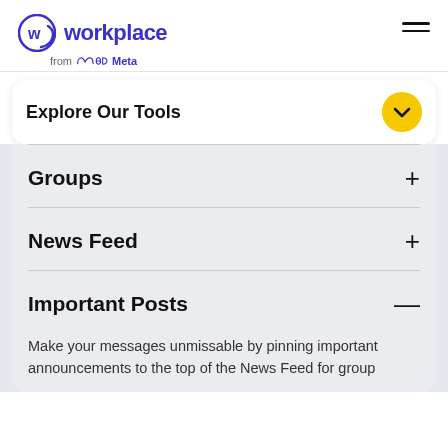[Figure (logo): Workplace from Meta logo — circular W icon in indigo/purple, text 'workplace' in bold indigo, 'from Meta' in grey below]
Explore Our Tools
Groups +
News Feed +
Important Posts −
Make your messages unmissable by pinning important announcements to the top of the News Feed for group